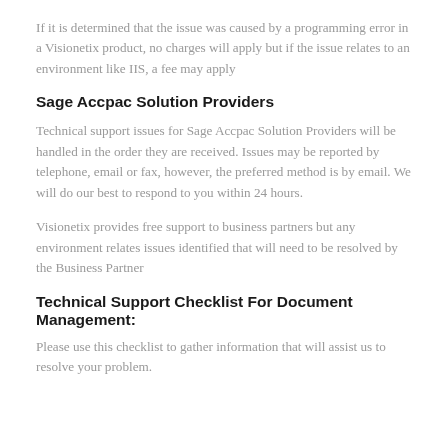If it is determined that the issue was caused by a programming error in a Visionetix product, no charges will apply but if the issue relates to an environment like IIS, a fee may apply
Sage Accpac Solution Providers
Technical support issues for Sage Accpac Solution Providers will be handled in the order they are received. Issues may be reported by telephone, email or fax, however, the preferred method is by email. We will do our best to respond to you within 24 hours.
Visionetix provides free support to business partners but any environment relates issues identified that will need to be resolved by the Business Partner
Technical Support Checklist For Document Management:
Please use this checklist to gather information that will assist us to resolve your problem.